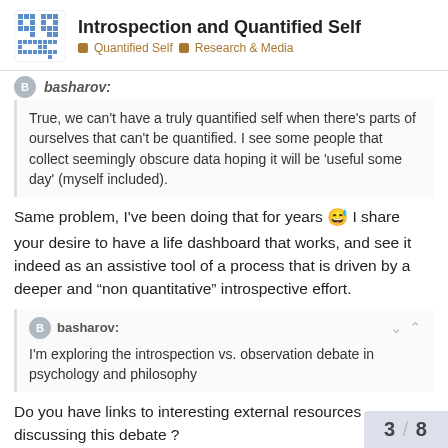Introspection and Quantified Self — Quantified Self > Research & Media
True, we can't have a truly quantified self when there's parts of ourselves that can't be quantified. I see some people that collect seemingly obscure data hoping it will be 'useful some day' (myself included).
Same problem, I've been doing that for years 😅 I share your desire to have a life dashboard that works, and see it indeed as an assistive tool of a process that is driven by a deeper and "non quantitative" introspective effort.
basharov: I'm exploring the introspection vs. observation debate in psychology and philosophy
Do you have links to interesting external resources discussing this debate ?
3 / 8